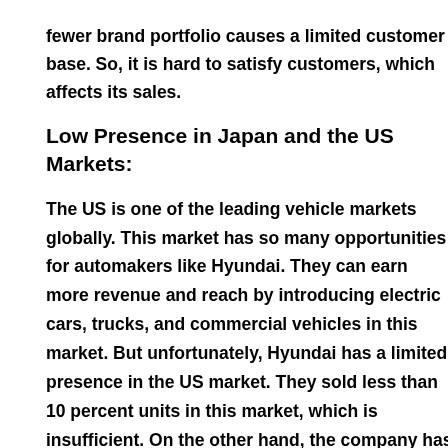fewer brand portfolio causes a limited customer base. So, it is hard to satisfy customers, which affects its sales.
Low Presence in Japan and the US Markets:
The US is one of the leading vehicle markets globally. This market has so many opportunities for automakers like Hyundai. They can earn more revenue and reach by introducing electric cars, trucks, and commercial vehicles in this market. But unfortunately, Hyundai has a limited presence in the US market. They sold less than 10 percent units in this market, which is insufficient. On the other hand, the company has no presence in Japan. It is the biggest weakness of Hyundai, and they should focus on these markets to stay ahead of the competition.